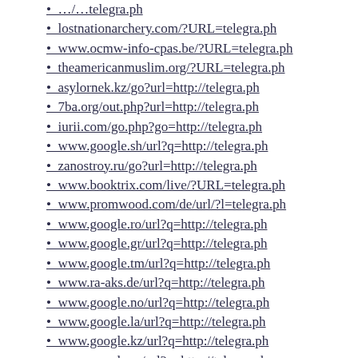…[truncated top URL]…telegra.ph
lostnationarchery.com/?URL=telegra.ph
www.ocmw-info-cpas.be/?URL=telegra.ph
theamericanmuslim.org/?URL=telegra.ph
asylornek.kz/go?url=http://telegra.ph
7ba.org/out.php?url=http://telegra.ph
iurii.com/go.php?go=http://telegra.ph
www.google.sh/url?q=http://telegra.ph
zanostroy.ru/go?url=http://telegra.ph
www.booktrix.com/live/?URL=telegra.ph
www.promwood.com/de/url/?l=telegra.ph
www.google.ro/url?q=http://telegra.ph
www.google.gr/url?q=http://telegra.ph
www.google.tm/url?q=http://telegra.ph
www.ra-aks.de/url?q=http://telegra.ph
www.google.no/url?q=http://telegra.ph
www.google.la/url?q=http://telegra.ph
www.google.kz/url?q=http://telegra.ph
www.google.as/url?q=http://telegra.ph
…[truncated bottom URL]…telegra.ph